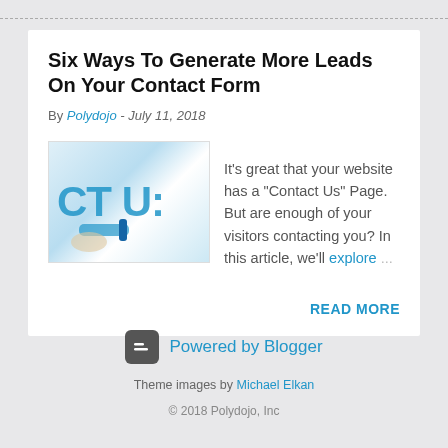Six Ways To Generate More Leads On Your Contact Form
By Polydojo - July 11, 2018
[Figure (photo): Partial image of a 'Contact Us' sign with a blue marker or pen.]
It's great that your website has a "Contact Us" Page. But are enough of your visitors contacting you? In this article, we'll explore ...
READ MORE
Powered by Blogger
Theme images by Michael Elkan
© 2018 Polydojo, Inc